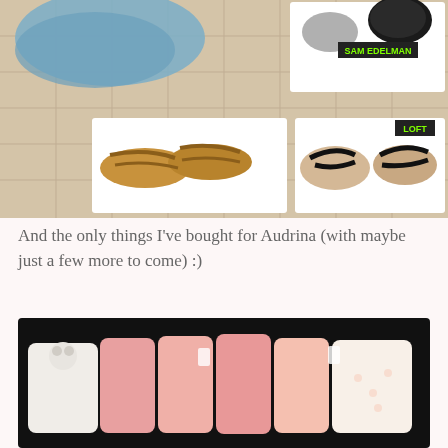[Figure (photo): Photo of shoes laid out on a beige quilted surface. Top left: a blue garment. Top right: gray shoes labeled SAM EDELMAN. Middle left: tan strappy sandals labeled INC. Middle right: black flip flops labeled LOFT.]
And the only things I've bought for Audrina (with maybe just a few more to come) :)
[Figure (photo): Photo of baby clothing items laid out on a black surface. Items include white, pink, and cream colored baby onesies and outfits.]